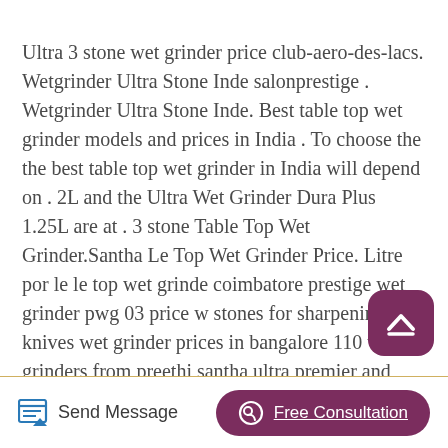Ultra 3 stone wet grinder price club-aero-des-lacs. Wetgrinder Ultra Stone Inde salonprestige . Wetgrinder Ultra Stone Inde. Best table top wet grinder models and prices in India . To choose the the best table top wet grinder in India will depend on . 2L and the Ultra Wet Grinder Dura Plus 1.25L are at . 3 stone Table Top Wet Grinder.Santha Le Top Wet Grinder Price. Litre por le le top wet grinder coimbatore prestige wet grinder pwg 03 price w stones for sharpening knives wet grinder prices in bangalore 110 volts grinders from preethi santha ultra premier and models of type dry wet grinder in tabletop countertop tilting distributors for preethi mixie sharp wet.
[Figure (other): Scroll-to-top button — rounded dark purple square with a white upward chevron icon]
Send Message   Free Consultation